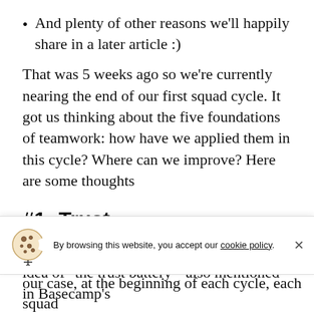And plenty of other reasons we'll happily share in a later article :)
That was 5 weeks ago so we're currently nearing the end of our first squad cycle. It got us thinking about the five foundations of teamwork: how have we applied them in this cycle? Where can we improve? Here are some thoughts
#1: Trust
Shopify CEO, Tobias Lütke, introduced the idea of "the trust battery"  also mentioned in Basecamp's
[Figure (other): Cookie consent banner with cookie icon, text 'By browsing this website, you accept our cookie policy.' and a close button]
our case, at the beginning of each cycle, each squad